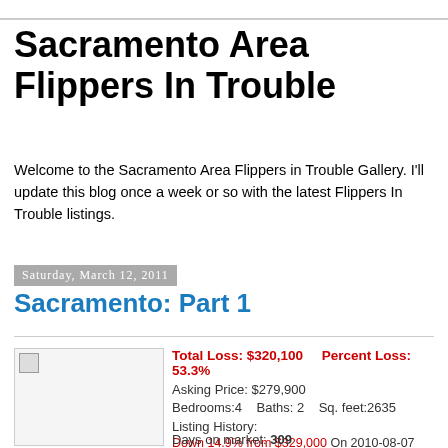Sacramento Area Flippers In Trouble
Welcome to the Sacramento Area Flippers in Trouble Gallery. I'll update this blog once a week or so with the latest Flippers In Trouble listings.
Saturday, March 12, 2011
Sacramento: Part 1
Total Loss: $320,100    Percent Loss: 53.3%
Asking Price: $279,900
Bedrooms:4  Baths: 2  Sq. feet:2635
Listing History:
Down 14.9% from $329,000 On 2010-08-07
Down 6.5% from $299,500 On 2010-10-30
Down 3.4% from $289,900 On 2010-11-13
3321 Arya Way
Carmichael, CA 95608
Days on market: 309